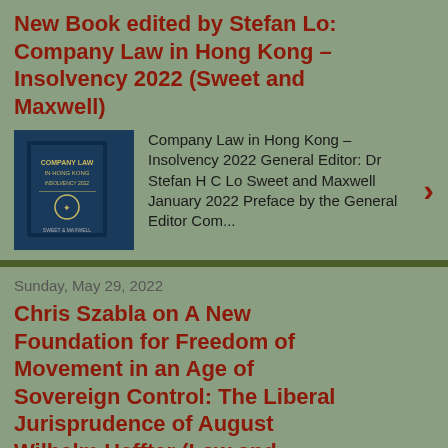New Book edited by Stefan Lo: Company Law in Hong Kong – Insolvency 2022 (Sweet and Maxwell)
Company Law in Hong Kong – Insolvency 2022 General Editor: Dr Stefan H C Lo Sweet and Maxwell January 2022 Preface by the General Editor Com...
Sunday, May 29, 2022
Chris Szabla on A New Foundation for Freedom of Movement in an Age of Sovereign Control: The Liberal Jurisprudence of August Wilhelm Heffter (Law and History Review)
" A New Foundation for Freedom of Movement in an Age of Sovereign Control: The Liberal Jurisprudence of August Wilhelm Heffter " C...